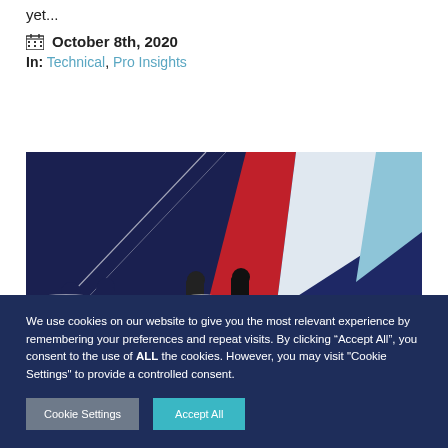yet...
October 8th, 2020
In: Technical, Pro Insights
[Figure (photo): Sailing crew on a large yacht with dark navy, red, and light blue spinnaker sails against a blue sky]
We use cookies on our website to give you the most relevant experience by remembering your preferences and repeat visits. By clicking “Accept All”, you consent to the use of ALL the cookies. However, you may visit "Cookie Settings" to provide a controlled consent.